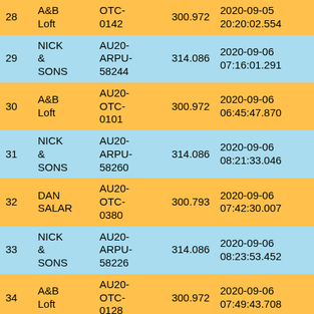| # | Name | Code | Amount | DateTime | Value |  |
| --- | --- | --- | --- | --- | --- | --- |
| 28 | A&B Loft | OTC-0142 | 300.972 | 2020-09-05 20:20:02.554 | 676.918 |  |
| 29 | NICK & SONS | AU20-ARPU-58244 | 314.086 | 2020-09-06 07:16:01.291 | 637.501 |  |
| 30 | A&B Loft | AU20-OTC-0101 | 300.972 | 2020-09-06 06:45:47.870 | 632.946 |  |
| 31 | NICK & SONS | AU20-ARPU-58260 | 314.086 | 2020-09-06 08:21:33.046 | 592.709 |  |
| 32 | DAN SALAR | AU20-OTC-0380 | 300.793 | 2020-09-06 07:42:30.007 | 592.430 |  |
| 33 | NICK & SONS | AU20-ARPU-58226 | 314.086 | 2020-09-06 08:23:53.452 | 591.226 |  |
| 34 | A&B Loft | AU20-OTC-0128 | 300.972 | 2020-09-06 07:49:43.708 | 588.027 |  |